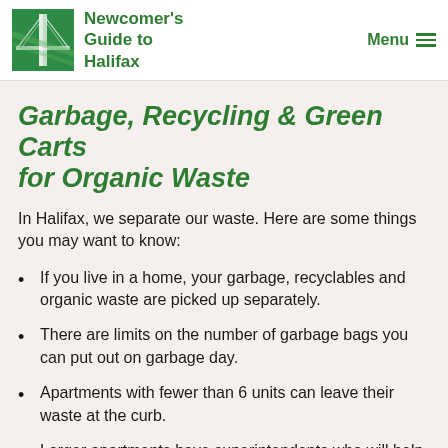Newcomer's Guide to Halifax | Menu
Garbage, Recycling & Green Carts for Organic Waste
In Halifax, we separate our waste. Here are some things you may want to know:
If you live in a home, your garbage, recyclables and organic waste are picked up separately.
There are limits on the number of garbage bags you can put out on garbage day.
Apartments with fewer than 6 units can leave their waste at the curb.
Larger apartments have superintendents who will help you with recycling in your building.